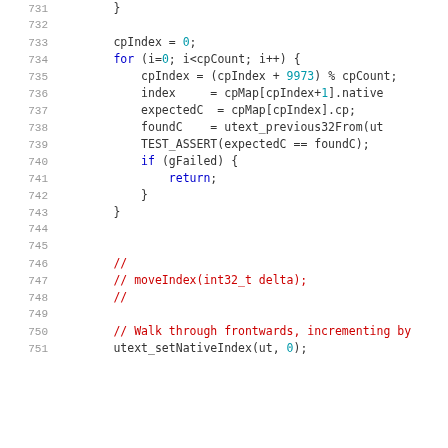Source code listing, lines 731-751
731    }
732    (blank)
733        cpIndex = 0;
734        for (i=0; i<cpCount; i++) {
735            cpIndex = (cpIndex + 9973) % cpCount;
736            index      = cpMap[cpIndex+1].native
737            expectedC  = cpMap[cpIndex].cp;
738            foundC     = utext_previous32From(ut
739            TEST_ASSERT(expectedC == foundC);
740            if (gFailed) {
741                return;
742            }
743        }
744    (blank)
745    (blank)
746        //
747        // moveIndex(int32_t delta);
748        //
749    (blank)
750        // Walk through frontwards, incrementing by
751        utext_setNativeIndex(ut, 0);